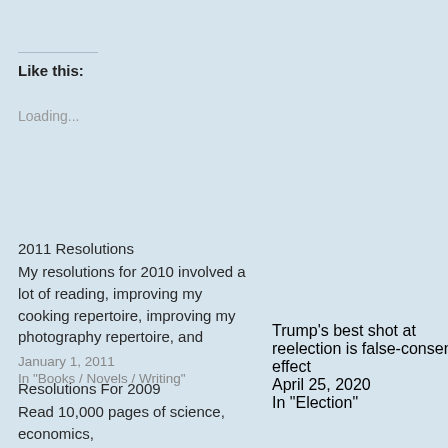Like this:
Loading...
2011 Resolutions
My resolutions for 2010 involved a lot of reading, improving my cooking repertoire, improving my photography repertoire, and
January 1, 2011
In "Books / Novels / Writing"
Trump's best shot at reelection is false-consensus effect
April 25, 2020
In "Election"
Resolutions For 2009
Read 10,000 pages of science, economics,